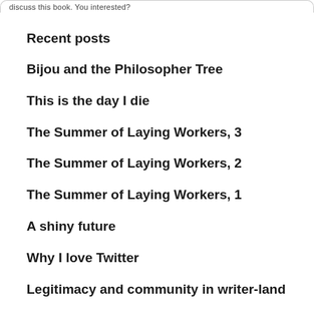discuss this book. You interested?
Recent posts
Bijou and the Philosopher Tree
This is the day I die
The Summer of Laying Workers, 3
The Summer of Laying Workers, 2
The Summer of Laying Workers, 1
A shiny future
Why I love Twitter
Legitimacy and community in writer-land
How to Sacrifice...